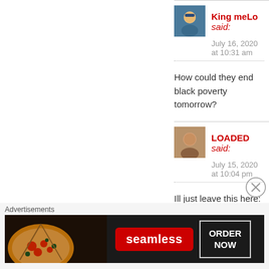King meLo said:
July 16, 2020 at 10:31 am
How could they end black poverty tomorrow?
LOADED said:
July 15, 2020 at 10:04 pm
Ill just leave this here:
https://www.dailymail.co.uk/news/a-8527305/Diddy-Dwyane-Wade-speak-support-Nick-Cannon.html
Advertisements